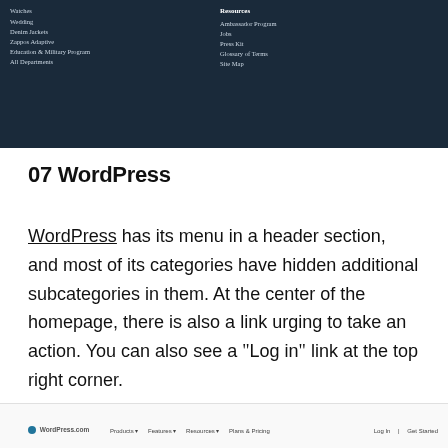[Figure (screenshot): Screenshot of a dark navy blue website navigation menu showing left column with links (Watches, Wedding, Denim Jackets, Zappos Adaptive, Education & Military Program, All Departments) and right column with Resources section (Ambassador Program, Jobs, Press Kit, Glossary of Terms, Site Map)]
07 WordPress
WordPress has its menu in a header section, and most of its categories have hidden additional subcategories in them. At the center of the homepage, there is also a link urging to take an action. You can also see a “Log in” link at the top right corner.
WordPress.com   Products   Features   Resources   Plans & Pricing   Log In   Get Started